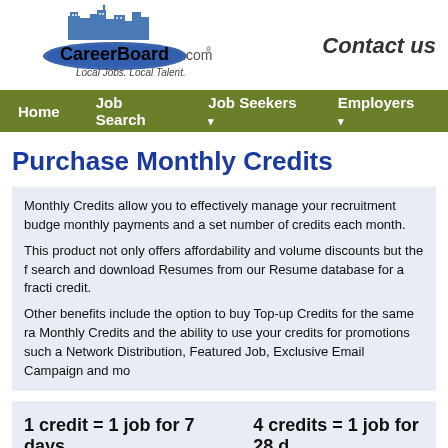[Figure (logo): CareerBoard.com logo with cityscape silhouette and blue oval. Tagline: Local Jobs. Local Talent.]
Contact us
Home  Job Search  Job Seekers  Employers
Purchase Monthly Credits
Monthly Credits allow you to effectively manage your recruitment budge monthly payments and a set number of credits each month.
This product not only offers affordability and volume discounts but the f search and download Resumes from our Resume database for a fracti credit.
Other benefits include the option to buy Top-up Credits for the same ra Monthly Credits and the ability to use your credits for promotions such Network Distribution, Featured Job, Exclusive Email Campaign and mo
1 credit = 1 job for 7 days      4 credits = 1 job for 28 d
Login or register to purchase credits.